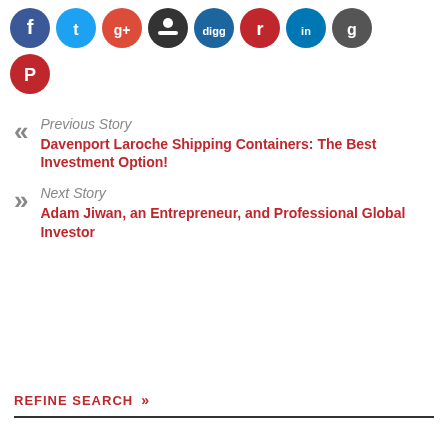[Figure (other): Row of social media icon circles (Facebook, Twitter, Google+, dark circle, Digg, red circle, LinkedIn, dark circle) plus a Pinterest icon below]
Previous Story
Davenport Laroche Shipping Containers: The Best Investment Option!
Next Story
Adam Jiwan, an Entrepreneur, and Professional Global Investor
REFINE SEARCH »